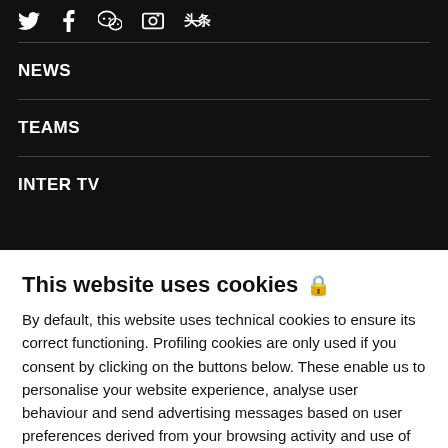[Figure (other): Row of social media icons: Twitter bird, Facebook f, WeChat, a camera/Instagram style icon, and a Chinese news app icon (头条), displayed in white on black background]
NEWS
TEAMS
INTER TV
This website uses cookies 🔒
By default, this website uses technical cookies to ensure its correct functioning. Profiling cookies are only used if you consent by clicking on the buttons below. These enable us to personalise your website experience, analyse user behaviour and send advertising messages based on user preferences derived from your browsing activity and use of online